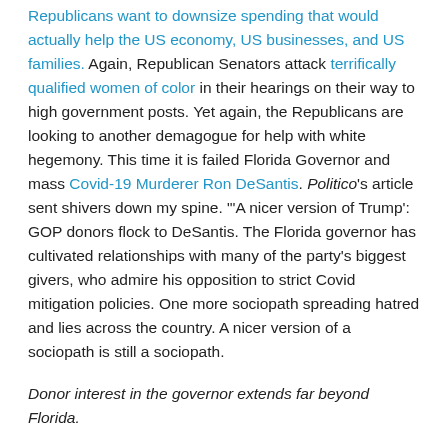Republicans want to downsize spending that would actually help the US economy, US businesses, and US families. Again, Republican Senators attack terrifically qualified women of color in their hearings on their way to high government posts. Yet again, the Republicans are looking to another demagogue for help with white hegemony. This time it is failed Florida Governor and mass Covid-19 Murderer Ron DeSantis. Politico's article sent shivers down my spine. "'A nicer version of Trump': GOP donors flock to DeSantis. The Florida governor has cultivated relationships with many of the party's biggest givers, who admire his opposition to strict Covid mitigation policies. One more sociopath spreading hatred and lies across the country. A nicer version of a sociopath is still a sociopath.
Donor interest in the governor extends far beyond Florida.